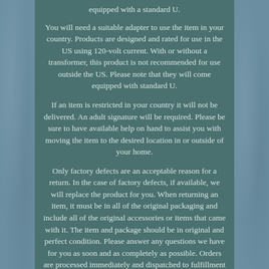equipped with a standard U.
You will need a suitable adapter to use the item in your country. Products are designed and rated for use in the US using 120-volt current. With or without a transformer, this product is not recommended for use outside the US. Please note that they will come equipped with standard U.
If an item is restricted in your country it will not be delivered. An adult signature will be required. Please be sure to have available help on hand to assist you with moving the item to the desired location in or outside of your home.
Only factory defects are an acceptable reason for a return. In the case of factory defects, if available, we will replace the product for you. When returning an item, it must be in all of the original packaging and include all of the original accessories or items that came with it. The item and package should be in original and perfect condition. Please answer any questions we have for you as soon and as completely as possible. Orders are processed immediately and dispatched to fulfillment as soon as they are received. For this reason, you are typically unable to change